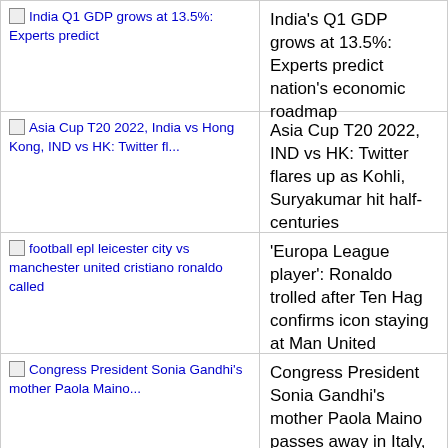India's Q1 GDP grows at 13.5%: Experts predict nation's economic roadmap
Asia Cup T20 2022, IND vs HK: Twitter flares up as Kohli, Suryakumar hit half-centuries
'Europa League player': Ronaldo trolled after Ten Hag confirms icon staying at Man United
Congress President Sonia Gandhi's mother Paola Maino passes away in Italy, funeral held